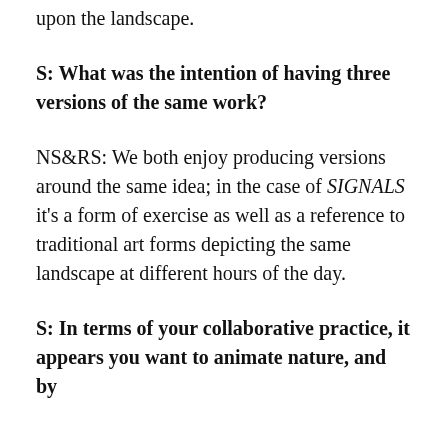upon the landscape.
S: What was the intention of having three versions of the same work?
NS&RS: We both enjoy producing versions around the same idea; in the case of SIGNALS it's a form of exercise as well as a reference to traditional art forms depicting the same landscape at different hours of the day.
S: In terms of your collaborative practice, it appears you want to animate nature, and by